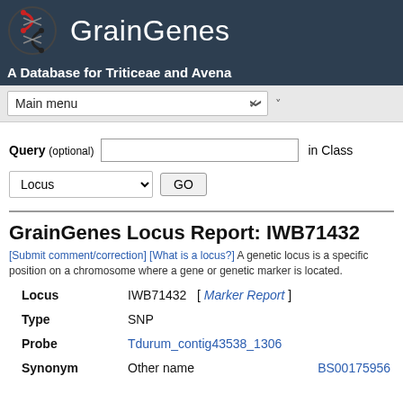GrainGenes — A Database for Triticeae and Avena
Main menu
Query (optional) [input box] in Class
Locus [dropdown] GO
GrainGenes Locus Report: IWB71432
[Submit comment/correction] [What is a locus?] A genetic locus is a specific position on a chromosome where a gene or genetic marker is located.
| Field | Value | Extra |
| --- | --- | --- |
| Locus | IWB71432  [ Marker Report ] |  |
| Type | SNP |  |
| Probe | Tdurum_contig43538_1306 |  |
| Synonym | Other name | BS00175956 |